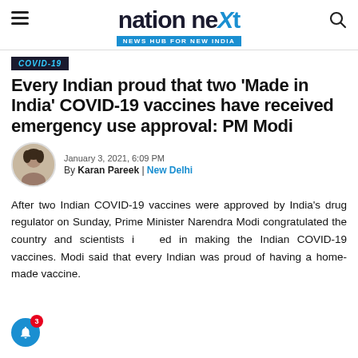nation next — NEWS HUB FOR NEW INDIA
COVID-19
Every Indian proud that two 'Made in India' COVID-19 vaccines have received emergency use approval: PM Modi
January 3, 2021, 6:09 PM By Karan Pareek | New Delhi
After two Indian COVID-19 vaccines were approved by India's drug regulator on Sunday, Prime Minister Narendra Modi congratulated the country and scientists involved in making the Indian COVID-19 vaccines. Modi said that every Indian was proud of having a home-made vaccine.